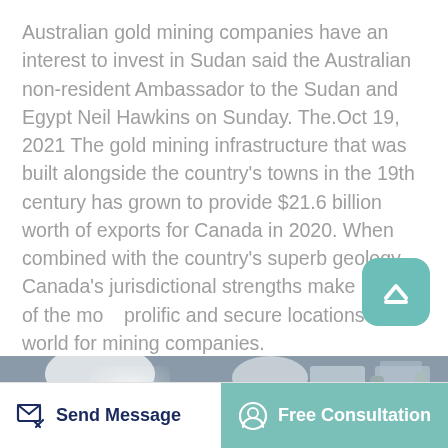Australian gold mining companies have an interest to invest in Sudan said the Australian non-resident Ambassador to the Sudan and Egypt Neil Hawkins on Sunday. The.Oct 19, 2021 The gold mining infrastructure that was built alongside the country's towns in the 19th century has grown to provide $21.6 billion worth of exports for Canada in 2020. When combined with the country's superb geology, Canada's jurisdictional strengths make it one of the most prolific and secure locations in the world for mining companies.
[Figure (photo): Industrial gold mining facility interior with large red machinery and bright overhead lights]
Send Message
Free Consultation